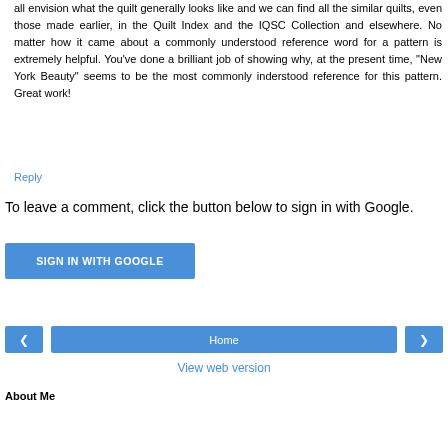all envision what the quilt generally looks like and we can find all the similar quilts, even those made earlier, in the Quilt Index and the IQSC Collection and elsewhere. No matter how it came about a commonly understood reference word for a pattern is extremely helpful. You've done a brilliant job of showing why, at the present time, "New York Beauty" seems to be the most commonly inderstood reference for this pattern. Great work!
Reply
To leave a comment, click the button below to sign in with Google.
SIGN IN WITH GOOGLE
Home
View web version
About Me